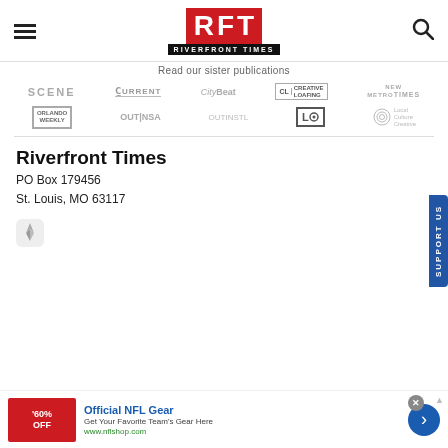[Figure (logo): RFT Riverfront Times logo in red box with white letters, black bar with publication name below]
Read our sister publications
[Figure (logo): Row of sister publication logos: SCENE, CURRENT, CityBeat, Creative Loafing, METRO TIMES]
[Figure (logo): Row of sister publication logos: ORLANDO WEEKLY, OUTINSA, OUTINSTL, LEO, Local Culture Creative]
Riverfront Times
PO Box 179456
St. Louis, MO 63117
[Figure (logo): Apple News icon]
[Figure (infographic): Advertisement banner: Official NFL Gear - Get Your Favorite Team's Gear Here - www.nflshop.com - 60% OFF]